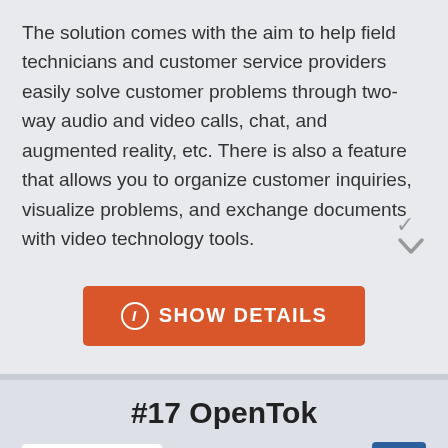The solution comes with the aim to help field technicians and customer service providers easily solve customer problems through two-way audio and video calls, chat, and augmented reality, etc. There is also a feature that allows you to organize customer inquiries, visualize problems, and exchange documents with video technology tools.
[Figure (other): Orange button labeled 'SHOW DETAILS' with an info icon (i in a circle) on the left]
#17 OpenTok
[Figure (logo): OpenTok logo — white background box with a teal/blue angular shape resembling a 'D' or play arrow in bottom-left]